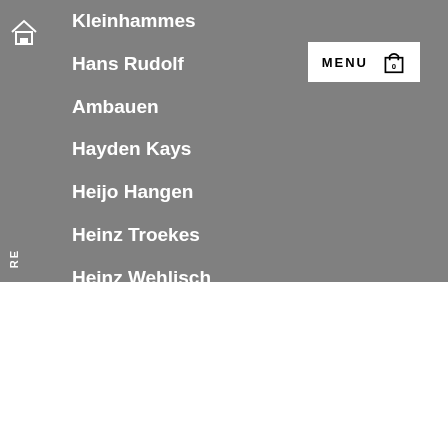Kleinhammes
Hans Rudolf
Ambauen
Hayden Kays
Heijo Hangen
Heinz Troekes
Heinz Wehlisch
Helmut Sundhaussen
Herbert Bayer
We use cookies on our website to give you the most relevant experience by remembering your preferences and repeat visits. By clicking “Accept”, you consent to the use of ALL the cookies.
Cookie settings
ACCEPT